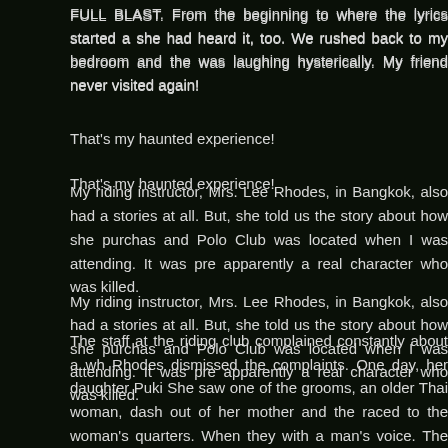FULL BLAST. From the beginning to where the lyrics started a she had heard it, too. We rushed back to my bedroom and the was laughing hysterically. My friend never visited again!
That's my haunted experience!
My riding instructor, Mrs. Lee Rhodes, in Bangkok, also had a stories at all. But, she told us the story about how she purchas and Polo Club was located when I was attending. It was pre apparently a real character who was killed.
The staff at the riding club complained constantly about a wh Rhodes dismissed the complaints. One day, her daughter Puki She saw one of the grooms, an older Thai woman, dash out of her mother and the raced to the woman's quarters. When they with a man's voice. The woman pushed past them and lead t hours to find someone who could understand the language she spirit house just across the clong. You may know that Thais houses. Mrs. Rhodes said that once the house was built, the sp